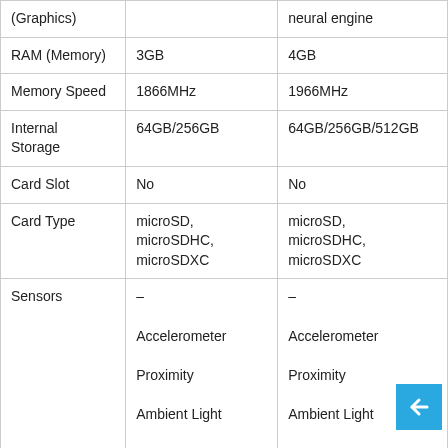| (Graphics) |  | neural engine |
| RAM (Memory) | 3GB | 4GB |
| Memory Speed | 1866MHz | 1966MHz |
| Internal Storage | 64GB/256GB | 64GB/256GB/512GB |
| Card Slot | No | No |
| Card Type | microSD, microSDHC, microSDXC | microSD, microSDHC, microSDXC |
| Sensors | –
Accelerometer
Proximity
Ambient Light
Compass,
Gyroscope | –
Accelerometer
Proximity
Ambient Light
Compass,
Gyroscope |